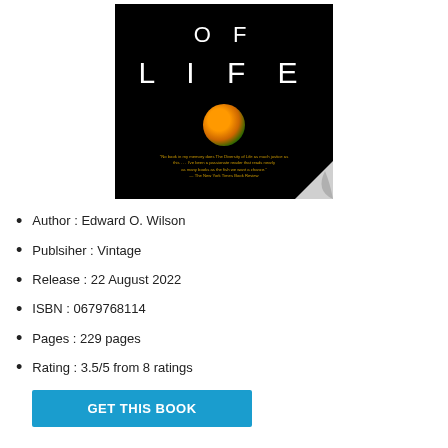[Figure (photo): Book cover with black background showing 'OF LIFE' text in white letters, a green/orange frog circle in the center, and a page curl in the bottom right corner with a review quote in yellow text.]
Author : Edward O. Wilson
Publsiher : Vintage
Release : 22 August 2022
ISBN : 0679768114
Pages : 229 pages
Rating : 3.5/5 from 8 ratings
GET THIS BOOK